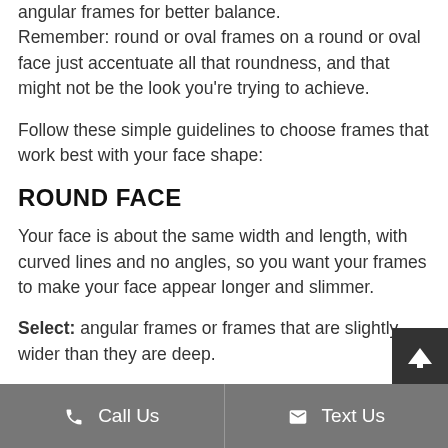angular frames for better balance. Remember: round or oval frames on a round or oval face just accentuate all that roundness, and that might not be the look you're trying to achieve.
Follow these simple guidelines to choose frames that work best with your face shape:
ROUND FACE
Your face is about the same width and length, with curved lines and no angles, so you want your frames to make your face appear longer and slimmer.
Select: angular frames or frames that are slightly wider than they are deep.
Call Us   Text Us